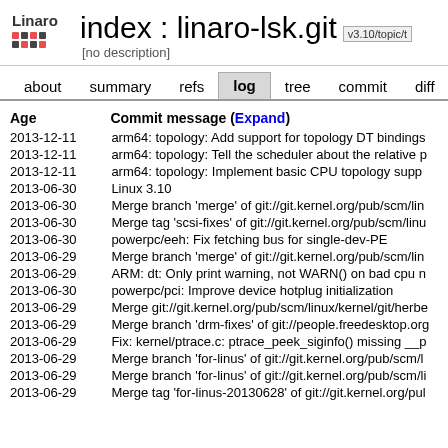index : linaro-lsk.git  v3.10/topic/t
[no description]
about  summary  refs  log  tree  commit  diff
| Age | Commit message (Expand) |
| --- | --- |
| 2013-12-11 | arm64: topology: Add support for topology DT bindings |
| 2013-12-11 | arm64: topology: Tell the scheduler about the relative p |
| 2013-12-11 | arm64: topology: Implement basic CPU topology supp |
| 2013-06-30 | Linux 3.10 |
| 2013-06-30 | Merge branch 'merge' of git://git.kernel.org/pub/scm/lin |
| 2013-06-30 | Merge tag 'scsi-fixes' of git://git.kernel.org/pub/scm/linu |
| 2013-06-30 | powerpc/eeh: Fix fetching bus for single-dev-PE |
| 2013-06-29 | Merge branch 'merge' of git://git.kernel.org/pub/scm/lin |
| 2013-06-29 | ARM: dt: Only print warning, not WARN() on bad cpu n |
| 2013-06-30 | powerpc/pci: Improve device hotplug initialization |
| 2013-06-29 | Merge git://git.kernel.org/pub/scm/linux/kernel/git/herbe |
| 2013-06-29 | Merge branch 'drm-fixes' of git://people.freedesktop.org |
| 2013-06-29 | Fix: kernel/ptrace.c: ptrace_peek_siginfo() missing __p |
| 2013-06-29 | Merge branch 'for-linus' of git://git.kernel.org/pub/scm/l |
| 2013-06-29 | Merge branch 'for-linus' of git://git.kernel.org/pub/scm/li |
| 2013-06-29 | Merge tag 'for-linus-20130628' of git://git.kernel.org/pul |